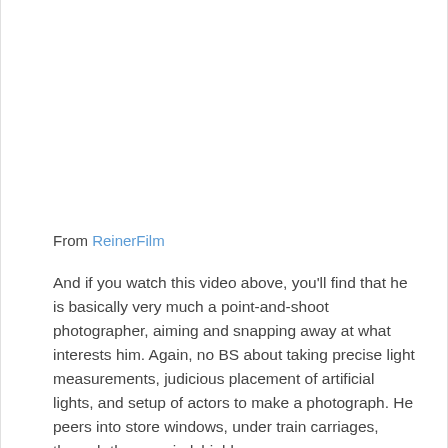From ReinerFilm
And if you watch this video above, you'll find that he is basically very much a point-and-shoot photographer, aiming and snapping away at what interests him. Again, no BS about taking precise light measurements, judicious placement of artificial lights, and setup of actors to make a photograph. He peers into store windows, under train carriages, through the car windshield.
David Lynch on William Eggleston: